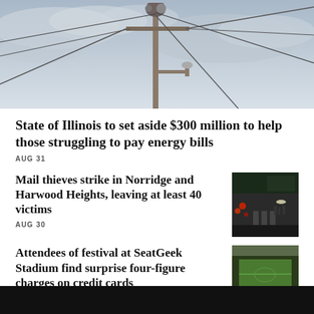[Figure (photo): Utility power pole with wires and equipment against a cloudy sky, aerial/ground view]
State of Illinois to set aside $300 million to help those struggling to pay energy bills
AUG 31
Mail thieves strike in Norridge and Harwood Heights, leaving at least 40 victims
[Figure (photo): Aerial night view of a street scene with emergency vehicles and red lights]
AUG 30
Attendees of festival at SeatGeek Stadium find surprise four-figure charges on credit cards
[Figure (photo): Aerial view of SeatGeek Stadium during a festival event with crowds]